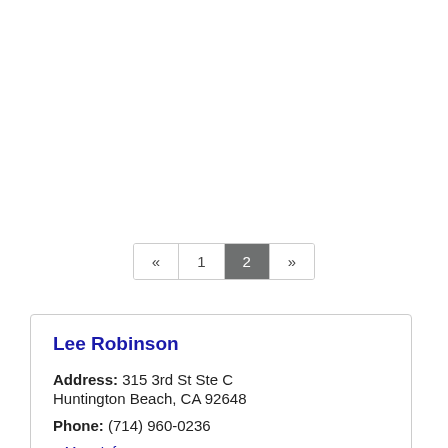« 1 2 »
Lee Robinson
Address: 315 3rd St Ste C Huntington Beach, CA 92648
Phone: (714) 960-0236
» More Info